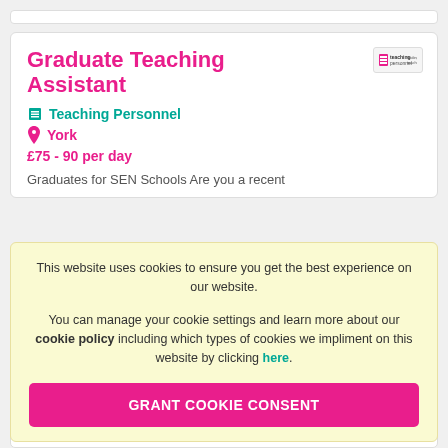Graduate Teaching Assistant
Teaching Personnel
York
£75 - 90 per day
Graduates for SEN Schools Are you a recent
This website uses cookies to ensure you get the best experience on our website.
You can manage your cookie settings and learn more about our cookie policy including which types of cookies we impliment on this website by clicking here.
GRANT COOKIE CONSENT
+ SHORTLIST